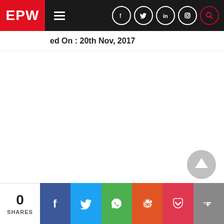EPW
Published On : 20th Nov, 2017
0 SHARES
Facebook, Twitter, WhatsApp, Reddit, Pocket, More share buttons